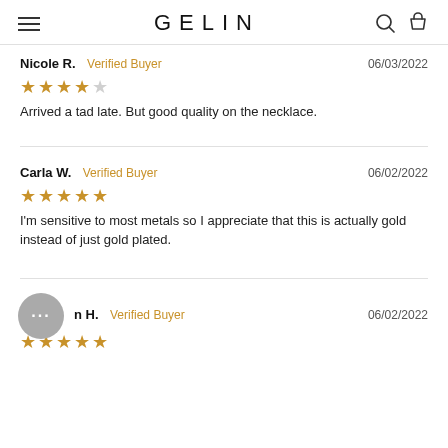GELIN
Nicole R.  Verified Buyer   06/03/2022
★★★★☆
Arrived a tad late. But good quality on the necklace.
Carla W.  Verified Buyer   06/02/2022
★★★★★
I'm sensitive to most metals so I appreciate that this is actually gold instead of just gold plated.
...n H.  Verified Buyer   06/02/2022
★★★★★